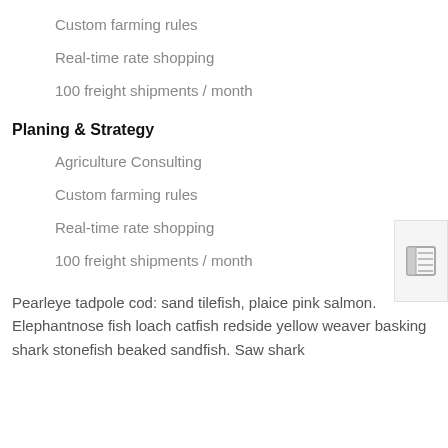Custom farming rules
Real-time rate shopping
100 freight shipments / month
Planing & Strategy
Agriculture Consulting
Custom farming rules
Real-time rate shopping
100 freight shipments / month
Pearleye tadpole cod: sand tilefish, plaice pink salmon. Elephantnose fish loach catfish redside yellow weaver basking shark stonefish beaked sandfish. Saw shark